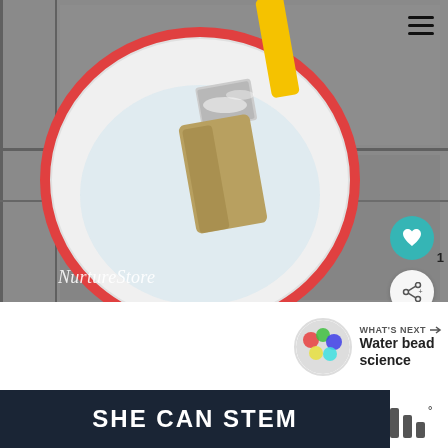[Figure (photo): Close-up overhead view of a paintbrush with yellow handle in a white paint can with red rim, sitting on grey concrete/pavement]
NurtureStore
WHAT'S NEXT → Water bead science
Fine motor skill water a
SHE CAN STEM